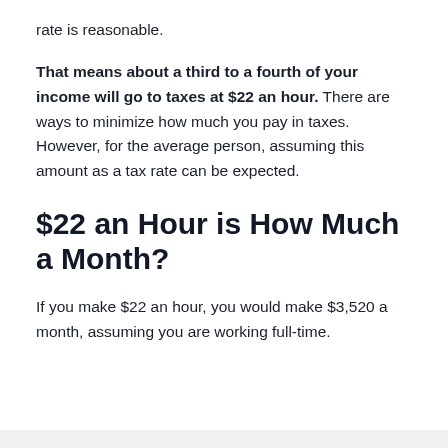rate is reasonable.
That means about a third to a fourth of your income will go to taxes at $22 an hour. There are ways to minimize how much you pay in taxes. However, for the average person, assuming this amount as a tax rate can be expected.
$22 an Hour is How Much a Month?
If you make $22 an hour, you would make $3,520 a month, assuming you are working full-time.